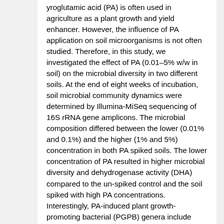Pyroglutamic acid (PA) is often used in agriculture as a plant growth and yield enhancer. However, the influence of PA application on soil microorganisms is not often studied. Therefore, in this study, we investigated the effect of PA (0.01–5% w/w in soil) on the microbial diversity in two different soils. At the end of eight weeks of incubation, soil microbial community dynamics were determined by Illumina-MiSeq sequencing of 16S rRNA gene amplicons. The microbial composition differed between the lower (0.01% and 0.1%) and the higher (1% and 5%) concentration in both PA spiked soils. The lower concentration of PA resulted in higher microbial diversity and dehydrogenase activity (DHA) compared to the un-spiked control and the soil spiked with high PA concentrations. Interestingly, PA-induced plant growth-promoting bacterial (PGPB) genera include Bradyrhizobium, Azospirillum, Pseudomonas, Mesorhizobium, Rhizobium, Herbaspiriluum, Acetobacter, Beijerinckia, and Nitrosomonas at lower concentrations. Additionally, the PICRUSt functional analysis revealed the predominance of metabolism as the functional module's primary component in both soils spiked with 0.01% and 0.1% PA. Overall, the results elucidated that PA application in soil at lower concentrations promoted soil DHA and microbial enrichment, particularly the PGPB genera,